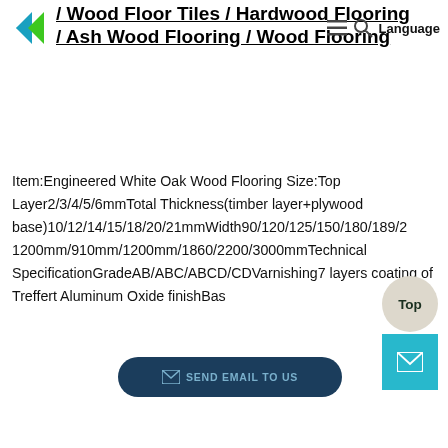/ Wood Floor Tiles / Hardwood Flooring / Ash Wood Flooring / Wood Flooring | Language
Item:Engineered White Oak Wood Flooring Size:Top Layer2/3/4/5/6mmTotal Thickness(timber layer+plywood base)10/12/14/15/18/20/21mmWidth90/120/125/150/180/189/2 1200mm/910mm/1200mm/1860/2200/3000mmTechnical SpecificationGradeAB/ABC/ABCD/CDVarnishing7 layers coating of Treffert Aluminum Oxide finishBas
[Figure (other): SEND EMAIL TO US button]
[Figure (other): Top scroll button and mail icon button]